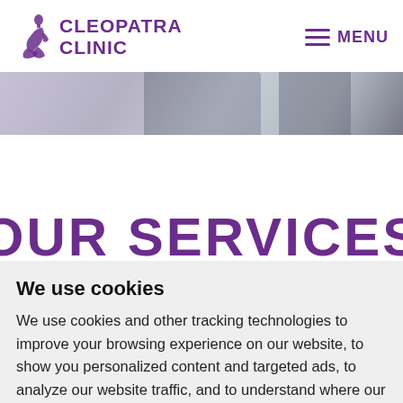CLEOPATRA CLINIC | MENU
[Figure (photo): Partial hero image showing people in professional/medical attire, cropped view showing torsos]
OUR SERVICES
We use cookies
We use cookies and other tracking technologies to improve your browsing experience on our website, to show you personalized content and targeted ads, to analyze our website traffic, and to understand where our visitors are coming from.